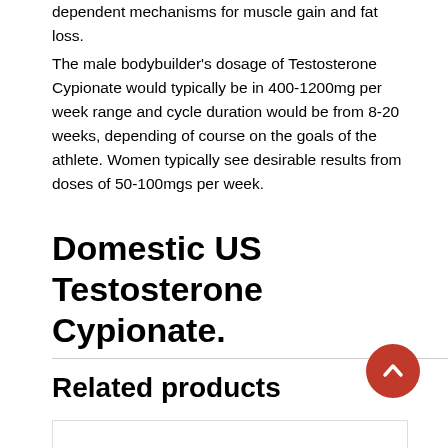dependent mechanisms for muscle gain and fat loss.
The male bodybuilder's dosage of Testosterone Cypionate would typically be in 400-1200mg per week range and cycle duration would be from 8-20 weeks, depending of course on the goals of the athlete. Women typically see desirable results from doses of 50-100mgs per week.
Domestic US Testosterone Cypionate.
Related products